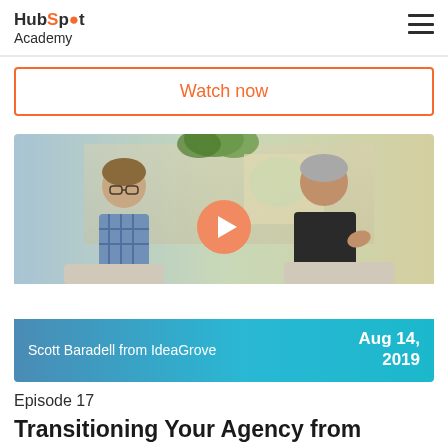HubSpot Academy
Watch now
[Figure (screenshot): Video thumbnail showing two people seated in conversation with a play button overlay. Caption bar reads: Scott Baradell from IdeaGrove | Aug 14, 2019]
Episode 17
Transitioning Your Agency from